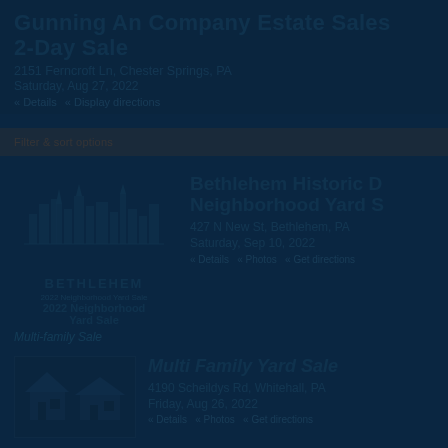Gunning An Company Estate Sales 2-Day Sale
2151 Ferncroft Ln, Chester Springs, PA
Saturday, Aug 27, 2022
« Details   « Display directions
[Figure (logo): Bethlehem 2022 Neighborhood Yard Sale logo with city skyline illustration]
Bethlehem Historic D Neighborhood Yard S
427 N New St, Bethlehem, PA
Saturday, Sep 10, 2022
« Details   « Photos   « Get directions
Multi-family Sale
[Figure (photo): Multi-family yard sale listing thumbnail photo]
Multi Family Yard Sale
4190 Scheildys Rd, Whitehall, PA
Friday, Aug 26, 2022
« Details   « Photos   « Get directions